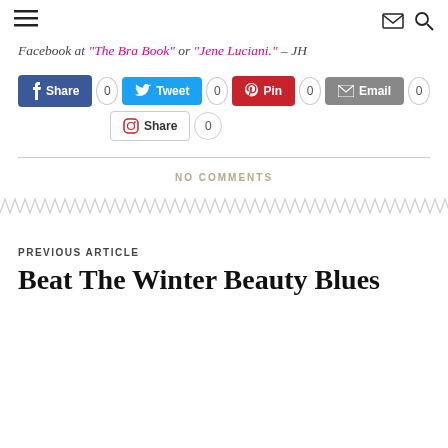≡ [envelope icon] [search icon]
Facebook at "The Bra Book" or "Jene Luciani." – JH
[Figure (infographic): Social share buttons: Facebook Share 0, Twitter Tweet 0, Pinterest Pin 0, Email Email 0, Instagram Share 0]
NO COMMENTS
[Figure (illustration): Decorative zigzag/chevron divider line]
PREVIOUS ARTICLE
Beat The Winter Beauty Blues